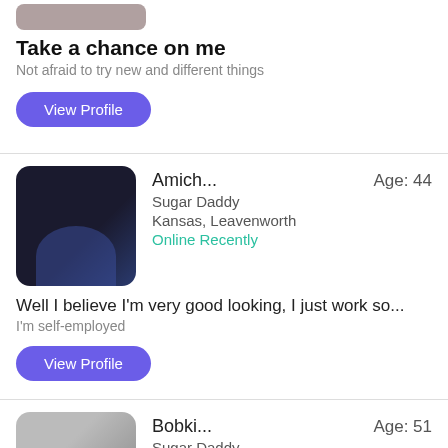[Figure (photo): Partial top of a blurred profile photo]
Take a chance on me
Not afraid to try new and different things
View Profile
[Figure (photo): Blurred profile photo of Amich, dark background, person in blue shirt]
Amich...
Age: 44
Sugar Daddy
Kansas, Leavenworth
Online Recently
Well I believe I'm very good looking, I just work so...
I'm self-employed
View Profile
[Figure (photo): Blurred profile photo of Bobki, partial view]
Bobki...
Age: 51
Sugar Daddy
Kansas, Leavenworth
Online Recently